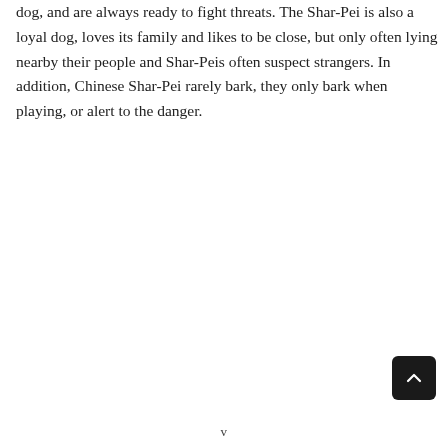dog, and are always ready to fight threats. The Shar-Pei is also a loyal dog, loves its family and likes to be close, but only often lying nearby their people and Shar-Peis often suspect strangers. In addition, Chinese Shar-Pei rarely bark, they only bark when playing, or alert to the danger.
v